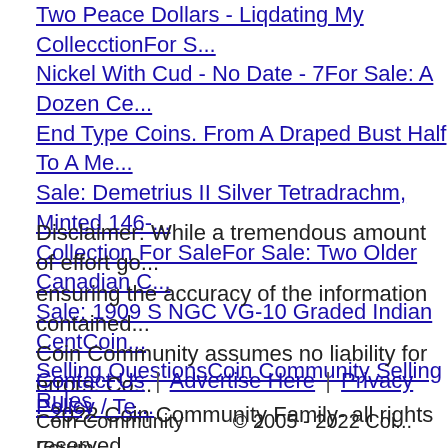Two Peace Dollars - Liqdating My CollecctionFor S...
Nickel With Cud - No Date - 7For Sale: A Dozen Ce...
End Type Coins. From A Draped Bust Half To A Me...
Sale: Demetrius II Silver Tetradrachm, Minted 146-...
Collection For SaleFor Sale: Two Older Canadian C...
Sale: 1909 S NGC VG-10 Graded Indian CentCoin...
Selling QuestionsCoin Community Selling Rules
Disclaimer: While a tremendous amount of effort go... ensuring the accuracy of the information contained... Coin Community assumes no liability for errors. Co... - 2022 Coin Community Family- all rights reserved... Use of any images or content on this website witho... written permission of Coin Community or the origina... strictly prohibited.
Contact Us | Advertise Here | Privacy Policy / Te...
Coin Community Forum   © 2005 - 2022 Coi...